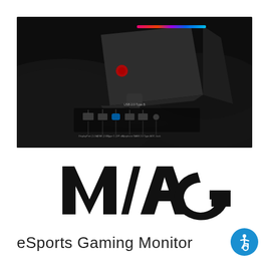[Figure (photo): MSI MAG gaming monitor shown from rear/side angle in dark studio setting, with RGB lighting strip visible at top. Inset shows front port layout with labels: DisplayPort 1.2a, HDMI (2.0b), Type C (DP alt.), Earphone Out, USB 2.0 Type A, DC Jack. USB 2.0 Type B label shown above ports.]
[Figure (logo): MSI MAG logo in bold black stylized lettering on white background]
eSports Gaming Monitor